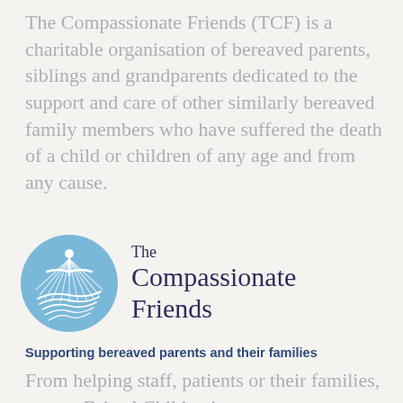The Compassionate Friends (TCF) is a charitable organisation of bereaved parents, siblings and grandparents dedicated to the support and care of other similarly bereaved family members who have suffered the death of a child or children of any age and from any cause.
[Figure (logo): The Compassionate Friends circular logo with a blue circle containing a white figure with outstretched arms and radiating lines, next to text reading 'The Compassionate Friends' in dark navy]
Supporting bereaved parents and their families
From helping staff, patients or their families, we put Bristol Children's